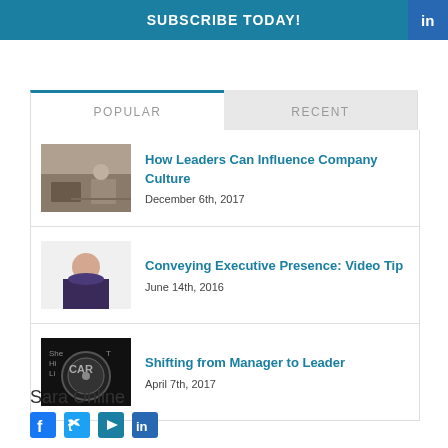SUBSCRIBE TODAY!
POPULAR | RECENT
How Leaders Can Influence Company Culture — December 6th, 2017
Conveying Executive Presence: Video Tip — June 14th, 2016
Shifting from Manager to Leader — April 7th, 2017
Sara Online